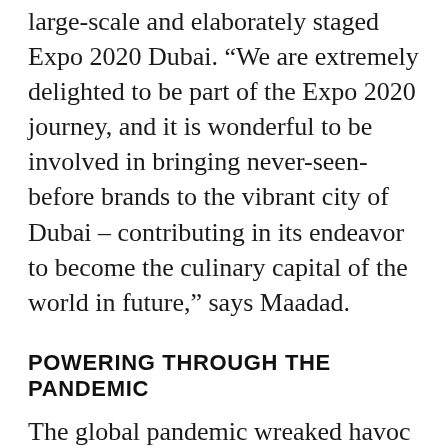large-scale and elaborately staged Expo 2020 Dubai. “We are extremely delighted to be part of the Expo 2020 journey, and it is wonderful to be involved in bringing never-seen-before brands to the vibrant city of Dubai – contributing in its endeavor to become the culinary capital of the world in future,” says Maadad.
POWERING THROUGH THE PANDEMIC
The global pandemic wreaked havoc in every industry, and the hospitality industry was no exception, one of the worst-hit during the COVID-19 pandemic. However, Gates hospitality managed to overcome the obstacles